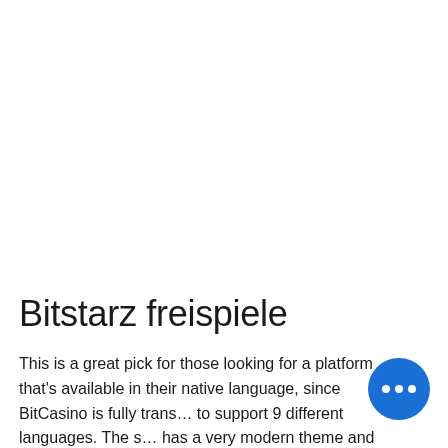Bitstarz freispiele
This is a great pick for those looking for a platform that's available in their native language, since BitCasino is fully trans… to support 9 different languages. The s… has a very modern theme and feel, while still